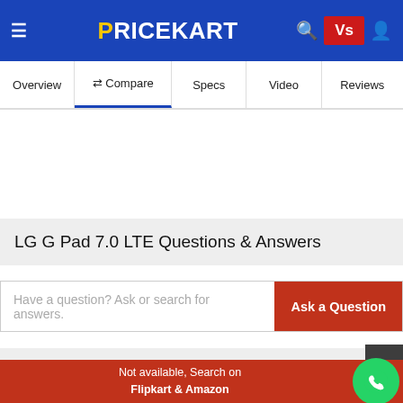PRICEKART
Overview | Compare | Specs | Video | Reviews
LG G Pad 7.0 LTE Questions & Answers
Have a question? Ask or search for answers.
Ask a Question
Similar Tablets You May Like
Not available, Search on
Flipkart & Amazon